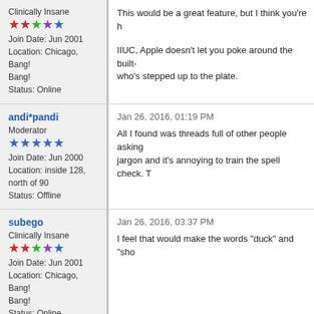Clinically Insane
Join Date: Jun 2001
Location: Chicago, Bang! Bang!
Status: Online
This would be a great feature, but I think you're h
IIUC, Apple doesn't let you poke around the built-
who's stepped up to the plate.
andi*pandi
Moderator
Join Date: Jun 2000
Location: inside 128, north of 90
Status: Offline
Jan 26, 2016, 01:19 PM
All I found was threads full of other people asking
jargon and it's annoying to train the spell check. T
subego
Clinically Insane
Join Date: Jun 2001
Location: Chicago, Bang! Bang!
Status: Online
Jan 26, 2016, 03:37 PM
I feel that would make the words "duck" and "sho